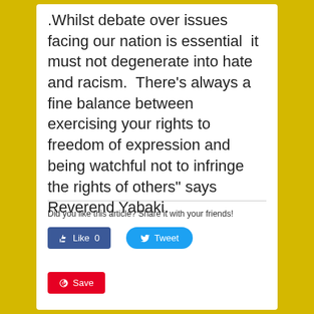.Whilst debate over issues facing our nation is essential  it must not degenerate into hate and racism.  There’s always a fine balance between exercising your rights to freedom of expression and being watchful not to infringe the rights of others” says Reverend Yabaki.
Did you like this article? Share it with your friends!
[Figure (screenshot): Social share buttons: Facebook Like (0), Twitter Tweet, and Pinterest Save]
Like 0
Tweet
Save